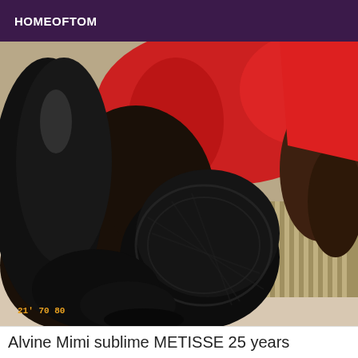HOMEOFTOM
[Figure (photo): A person posing on a striped chair/ottoman, wearing a red bodysuit and black lace stockings with black leather-look leggings. Photo has an orange timestamp '21' 70 80' in the lower left corner.]
Alvine Mimi sublime METISSE 25 years